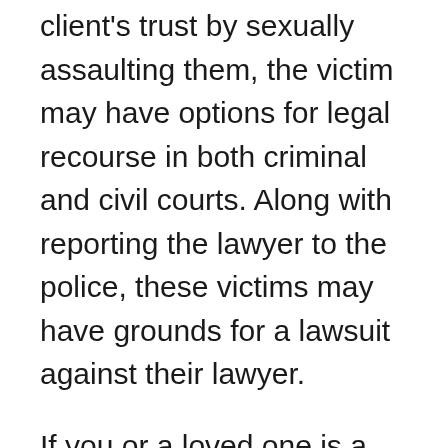client's trust by sexually assaulting them, the victim may have options for legal recourse in both criminal and civil courts. Along with reporting the lawyer to the police, these victims may have grounds for a lawsuit against their lawyer.
If you or a loved one is a victim of sexual assault by a lawyer or another professional you trusted, our attorneys are prepared to help you seek justice. You can learn more about your legal